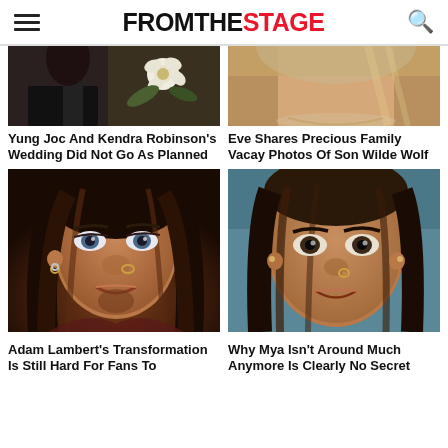FROMTHESTAGE
[Figure (photo): Partial photo of Yung Joc and Kendra Robinson at their wedding, dark background with white flower]
[Figure (photo): Partial photo of Eve, close-up face with highlighted blonde hair]
Yung Joc And Kendra Robinson's Wedding Did Not Go As Planned
Eve Shares Precious Family Vacay Photos Of Son Wilde Wolf
[Figure (photo): Close-up photo of Adam Lambert with long hair, beard, blue eyes, and makeup]
[Figure (photo): Close-up selfie photo of Mya with wet hair and nose ring]
Adam Lambert's Transformation Is Still Hard For Fans To
Why Mya Isn't Around Much Anymore Is Clearly No Secret